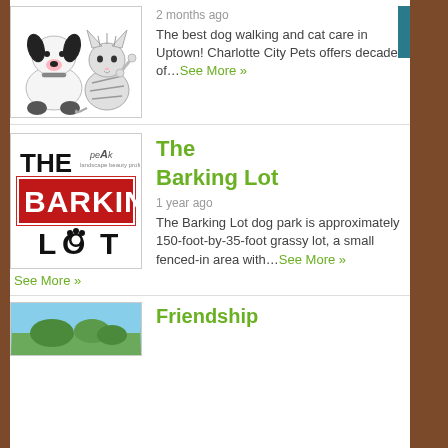[Figure (illustration): Cartoon illustration of a white dog sitting next to a striped cat holding a bone]
2 months ago
The best dog walking and cat care in Uptown! Charlotte City Pets offers decades of…See More »
[Figure (logo): The Barking Lot logo with red banner and paw print]
The Barking Lot
1 year ago
The Barking Lot dog park is approximately 150-foot-by-35-foot grassy lot, a small fenced-in area with…See More »
[Figure (photo): Photo partially visible at bottom, blue sky and trees]
Friendship